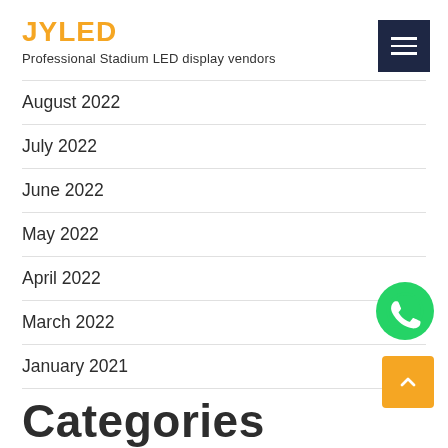JYLED
Professional Stadium LED display vendors
August 2022
July 2022
June 2022
May 2022
April 2022
March 2022
January 2021
Categories
[Figure (logo): WhatsApp green circular logo button]
[Figure (other): Yellow scroll-to-top arrow button]